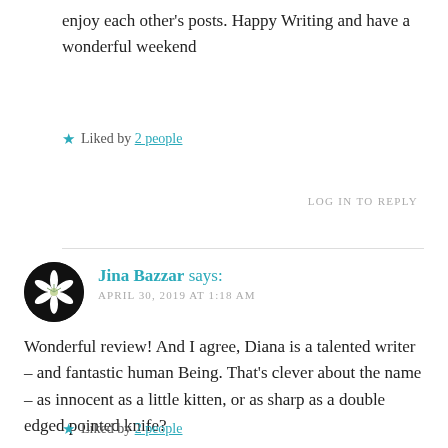enjoy each other's posts. Happy Writing and have a wonderful weekend
★ Liked by 2 people
LOG IN TO REPLY
Jina Bazzar says: APRIL 30, 2019 AT 1:18 AM
Wonderful review! And I agree, Diana is a talented writer – and fantastic human Being. That's clever about the name – as innocent as a little kitten, or as sharp as a double edged pointed knife?
★ Liked by 2 people